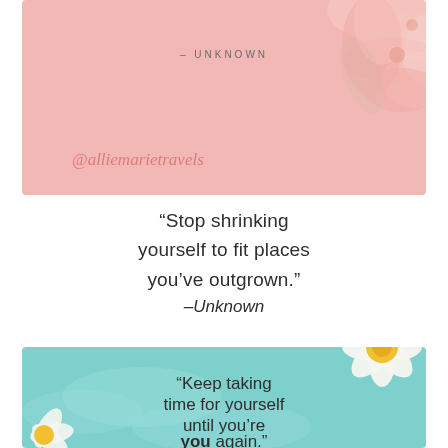[Figure (illustration): Pink floral background card with '– Unknown' text and '@alliemarietravels' handle. Pink flowers in upper right corner.]
“Stop shrinking yourself to fit places you’ve outgrown.” –Unknown
[Figure (illustration): Teal/cyan sky background card with white daisy flowers in upper right and lower left corners. Text reads: “Keep taking time for yourself until you’re you again.”]